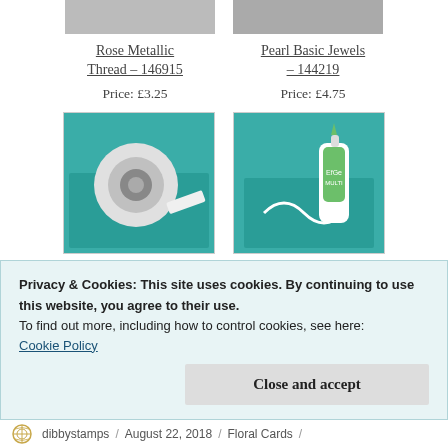[Figure (photo): Partial product image at top left (cropped, grey background)]
[Figure (photo): Partial product image at top right (cropped, grey background)]
Rose Metallic Thread – 146915
Pearl Basic Jewels – 144219
Price: £3.25
Price: £4.75
[Figure (photo): Mini Glue Dots product photo on teal background]
[Figure (photo): Multipurpose Liquid Glue product photo on teal background]
Mini Glue Dots – 103683
Multipurpose Liquid Glue –
Privacy & Cookies: This site uses cookies. By continuing to use this website, you agree to their use.
To find out more, including how to control cookies, see here: Cookie Policy
Close and accept
dibbystamps / August 22, 2018 / Floral Cards /